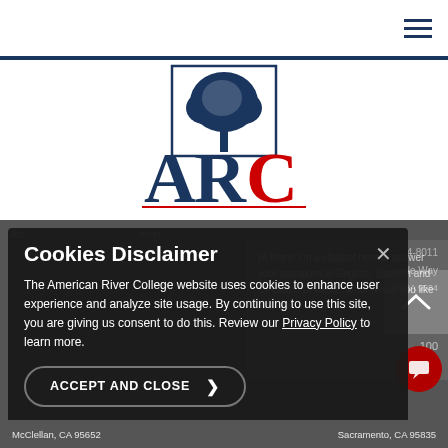American River College navigation header with hamburger menu
[Figure (logo): ARC (American River College) logo with tree graphic above letters ARC in dark navy and red]
American River College website background content showing address and phone number partial text
Cookies Disclaimer
The American River College website uses cookies to enhance user experience and analyze site usage. By continuing to use this site, you are giving us consent to do this. Review our Privacy Policy to learn more.
ACCEPT AND CLOSE
McClellan, CA 95652    Sacramento, CA 95835